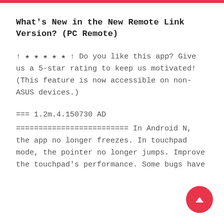What's New in the New Remote Link Version? (PC Remote)
↑ ★ ★ ★ ★ ★ ↑ Do you like this app? Give us a 5-star rating to keep us motivated! (This feature is now accessible on non-ASUS devices.)
=== 1.2m.4.150730 AD
========================= In Android N, the app no longer freezes. In touchpad mode, the pointer no longer jumps. Improve the touchpad's performance. Some bugs have